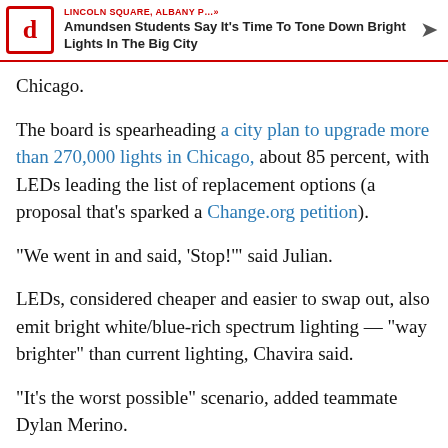LINCOLN SQUARE, ALBANY P…» Amundsen Students Say It's Time To Tone Down Bright Lights In The Big City
Chicago.
The board is spearheading a city plan to upgrade more than 270,000 lights in Chicago, about 85 percent, with LEDs leading the list of replacement options (a proposal that's sparked a Change.org petition).
"We went in and said, 'Stop!'" said Julian.
LEDs, considered cheaper and easier to swap out, also emit bright white/blue-rich spectrum lighting — "way brighter" than current lighting, Chavira said.
"It's the worst possible" scenario, added teammate Dylan Merino.